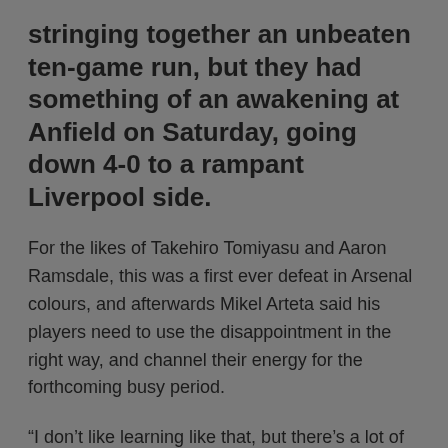stringing together an unbeaten ten-game run, but they had something of an awakening at Anfield on Saturday, going down 4-0 to a rampant Liverpool side.
For the likes of Takehiro Tomiyasu and Aaron Ramsdale, this was a first ever defeat in Arsenal colours, and afterwards Mikel Arteta said his players need to use the disappointment in the right way, and channel their energy for the forthcoming busy period.
“I don’t like learning like that, but there’s a lot of learning that we can take from the game for sure,”